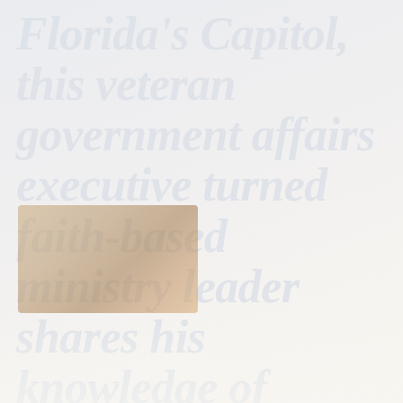Florida's Capitol, this veteran government affairs executive turned faith-based ministry leader shares his knowledge of building a culture of success and restoring ability to life as we know it
[Figure (photo): Small photo of a person, likely a portrait or headshot, with warm tones]